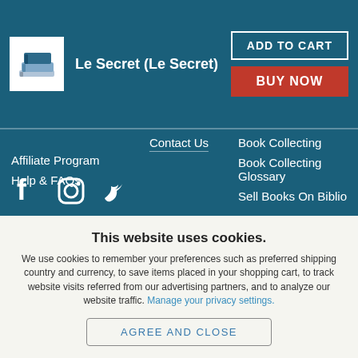Le Secret (Le Secret)
Contact Us
Affiliate Program
Help & FAQs
Book Collecting
Book Collecting Glossary
Sell Books On Biblio
[Figure (illustration): Social media icons: Facebook, Instagram, Twitter]
This website uses cookies.
We use cookies to remember your preferences such as preferred shipping country and currency, to save items placed in your shopping cart, to track website visits referred from our advertising partners, and to analyze our website traffic. Manage your privacy settings.
AGREE AND CLOSE